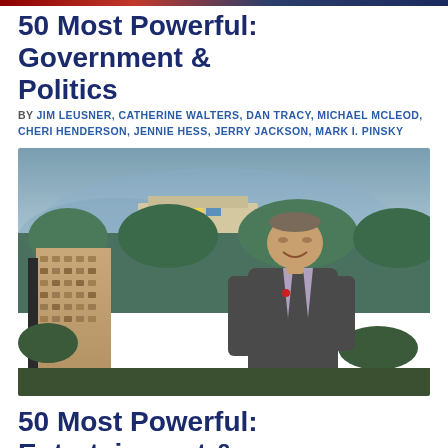50 Most Powerful: Government & Politics
BY JIM LEUSNER, CATHERINE WALTERS, DAN TRACY, MICHAEL MCLEOD, CHERI HENDERSON, JENNIE HESS, JERRY JACKSON, MARK I. PINSKY
[Figure (photo): Man in grey suit smiling, standing outdoors against a cityscape/skyline background with green trees and a tall brick building, aerial view]
50 Most Powerful: Entertainment &